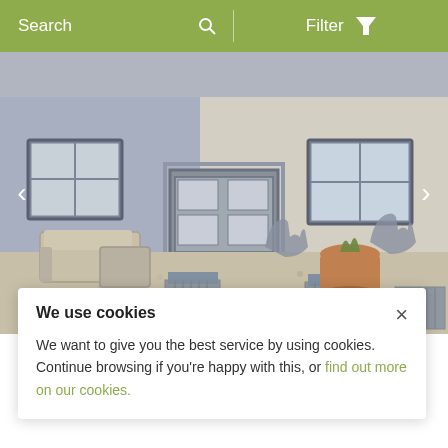Search   Filter
[Figure (photo): Exterior of a stone cottage with blue-grey rendered walls, a central grey door with glass panels, two windows, outdoor rattan furniture, decorative animal sculptures, plant containers, and a gravel forecourt]
North Lodge Cottage 8
Alonby, Cumbria
We use cookies
We want to give you the best service by using cookies. Continue browsing if you're happy with this, or find out more on our cookies.